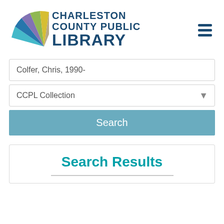[Figure (logo): Charleston County Public Library logo with colorful fan/book pages graphic and text]
Colfer, Chris, 1990-
CCPL Collection
Search
Search Results